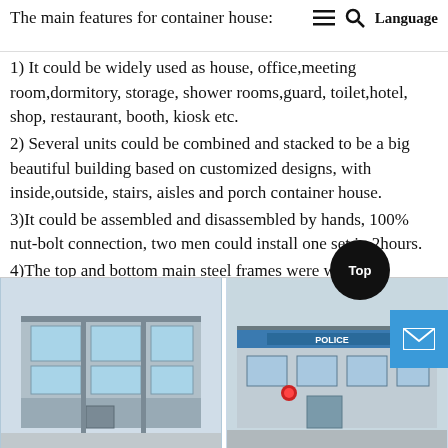The main features for container house:  ≡  🔍  Language
1) It could be widely used as house, office,meeting room,dormitory, storage, shower rooms,guard, toilet,hotel, shop, restaurant, booth, kiosk etc.
2) Several units could be combined and stacked to be a big beautiful building based on customized designs, with inside,outside, stairs, aisles and porch container house.
3)It could be assembled and disassembled by hands, 100% nut-bolt connection, two men could install one set in 2hours.
4)The top and bottom main steel frames were welded separately, upgrade and strengthened panels, door, window, it is of high firmness and excellent performance of waterproof, thermal and sound insulation with long service.
[Figure (photo): Two photos of container houses/buildings — left shows a modern container house with glass panels and metal frame, right shows a police station built from container modules with signage.]